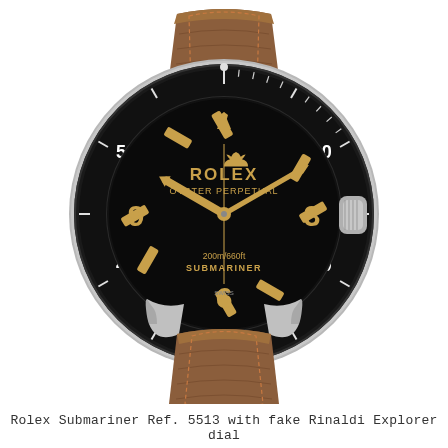[Figure (photo): Rolex Submariner Ref. 5513 wristwatch with stainless steel case, black rotating bezel with white numerals (10, 20, 30, 40, 50), black dial showing ROLEX OYSTER PERPETUAL and 200m/660ft SUBMARINER text, gold/cream hour markers and hands at approximately 10:10 position, numerals 3, 6, 9 in gold, brown crocodile leather strap.]
Rolex Submariner Ref. 5513 with fake Rinaldi Explorer dial